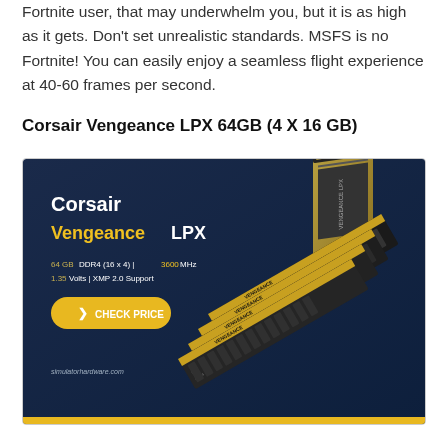Fortnite user, that may underwhelm you, but it is as high as it gets. Don't set unrealistic standards. MSFS is no Fortnite! You can easily enjoy a seamless flight experience at 40-60 frames per second.
Corsair Vengeance LPX 64GB (4 X 16 GB)
[Figure (photo): Corsair Vengeance LPX 64GB DDR4 (4x16) 3600MHz 1.35V XMP 2.0 product advertisement banner with dark blue background showing four black RAM sticks and gold/dark packaging box. Includes a yellow 'CHECK PRICE' button and simulatorhardware.com URL.]